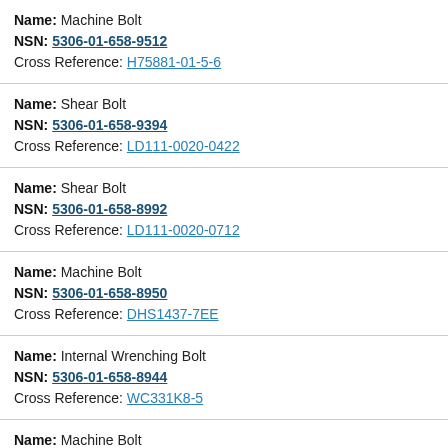Name: Machine Bolt | NSN: 5306-01-658-9512 | Cross Reference: H75881-01-5-6
Name: Shear Bolt | NSN: 5306-01-658-9394 | Cross Reference: LD111-0020-0422
Name: Shear Bolt | NSN: 5306-01-658-8992 | Cross Reference: LD111-0020-0712
Name: Machine Bolt | NSN: 5306-01-658-8950 | Cross Reference: DHS1437-7EE
Name: Internal Wrenching Bolt | NSN: 5306-01-658-8944 | Cross Reference: WC331K8-5
Name: Machine Bolt